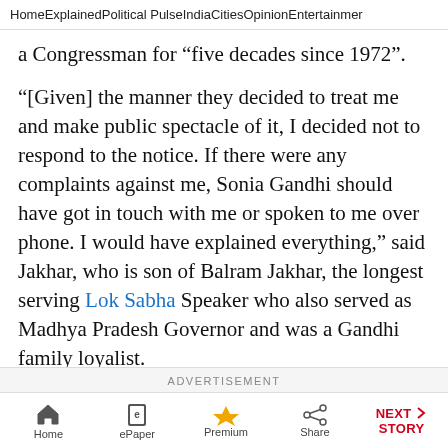Home  Explained  Political Pulse  India  Cities  Opinion  Entertainment
a Congressman for “five decades since 1972”.
“[Given] the manner they decided to treat me and make public spectacle of it, I decided not to respond to the notice. If there were any complaints against me, Sonia Gandhi should have got in touch with me or spoken to me over phone. I would have explained everything,” said Jakhar, who is son of Balram Jakhar, the longest serving Lok Sabha Speaker who also served as Madhya Pradesh Governor and was a Gandhi family loyalist.
ADVERTISEMENT
Home  ePaper  Premium  Share  NEXT STORY